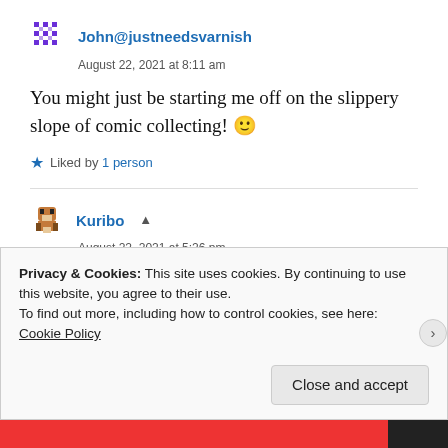John@justneedsvarnish
August 22, 2021 at 8:11 am
You might just be starting me off on the slippery slope of comic collecting! 🙂
★ Liked by 1 person
Kuribo
August 22, 2021 at 5:26 pm
Privacy & Cookies: This site uses cookies. By continuing to use this website, you agree to their use.
To find out more, including how to control cookies, see here: Cookie Policy
Close and accept